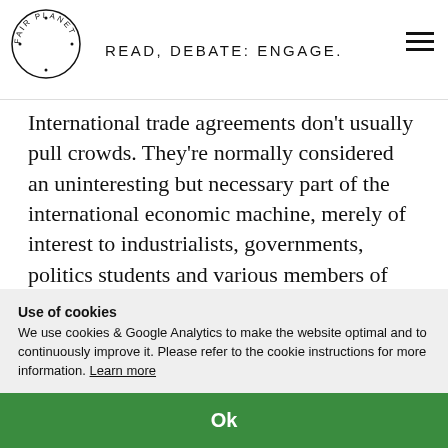READ, DEBATE: ENGAGE.
International trade agreements don't usually pull crowds. They're normally considered an uninteresting but necessary part of the international economic machine, merely of interest to industrialists, governments, politics students and various members of the worldwide bureaucrat. Even long-standing trade arrangements often seem too dull or
Use of cookies
We use cookies & Google Analytics to make the website optimal and to continuously improve it. Please refer to the cookie instructions for more information. Learn more
Ok